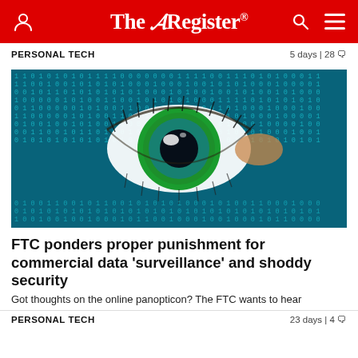The Register
PERSONAL TECH   5 days | 28
[Figure (photo): Close-up of a human eye overlaid with glowing binary code (0s and 1s) on a dark teal/cyan digital background]
FTC ponders proper punishment for commercial data 'surveillance' and shoddy security
Got thoughts on the online panopticon? The FTC wants to hear
PERSONAL TECH   23 days | 4